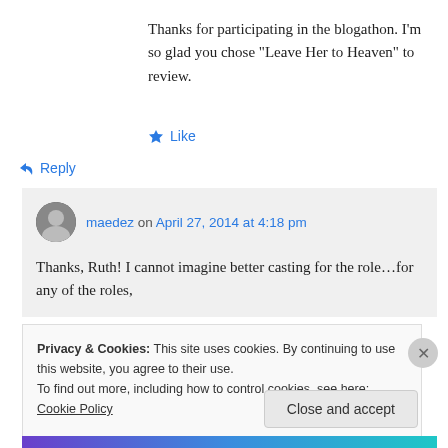Thanks for participating in the blogathon. I'm so glad you chose “Leave Her to Heaven” to review.
★ Like
↳ Reply
maedez on April 27, 2014 at 4:18 pm
Thanks, Ruth! I cannot imagine better casting for the role…for any of the roles,
Privacy & Cookies: This site uses cookies. By continuing to use this website, you agree to their use.
To find out more, including how to control cookies, see here: Cookie Policy
Close and accept